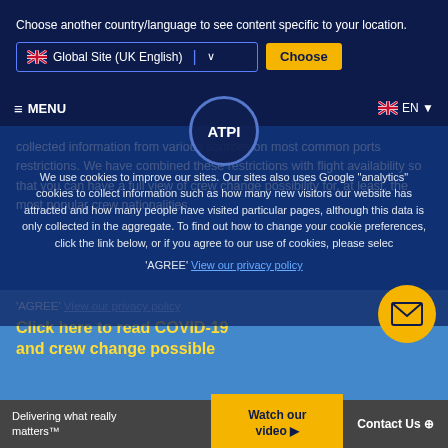Choose another country/language to see content specific to your location.
Global Site (UK English)
Choose
≡ MENU
🇬🇧 EN ▼
ATPI
We use cookies to improve our sites. Our sites also uses Google "analytics" cookies to collect information such as how many new visitors our website has attracted and how many people have visited particular pages, although this data is only collected in the aggregate. To find out how to change your cookie preferences, click the link below, or if you agree to our use of cookies, please select 'AGREE' View our privacy policy
collected information from various sources on most common ports restrictions. We have combined these restrictions with flight availability so that you can have a full view of crew change possibility for, at least, the most popular crew nationalities.
Click here to read COVID-19 and crew change possible
AGREE
Delivering what really matters™
Watch our video ▶
Contact Us ⊕